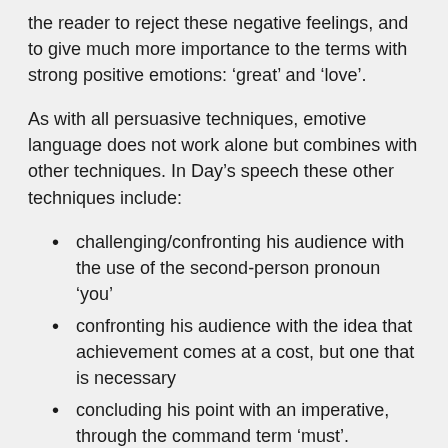the reader to reject these negative feelings, and to give much more importance to the terms with strong positive emotions: 'great' and 'love'.
As with all persuasive techniques, emotive language does not work alone but combines with other techniques. In Day's speech these other techniques include:
challenging/confronting his audience with the use of the second-person pronoun 'you'
confronting his audience with the idea that achievement comes at a cost, but one that is necessary
concluding his point with an imperative, through the command term 'must'.
Another notable example of emotive language use is Martin Luther King's 1963 'I Have a Dream' speech. Throughout this speech King uses